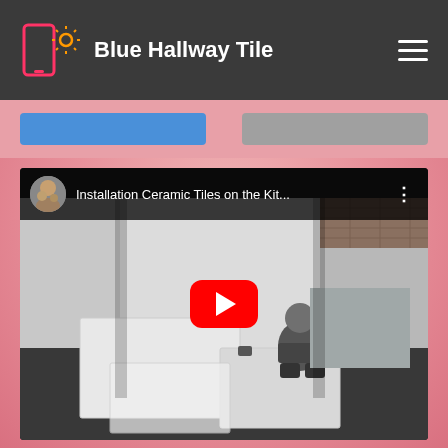Blue Hallway Tile
[Figure (screenshot): YouTube video thumbnail showing a person installing ceramic tiles on a kitchen floor in a room under construction. Title reads 'Installation Ceramic Tiles on the Kit...' with a YouTube play button overlay.]